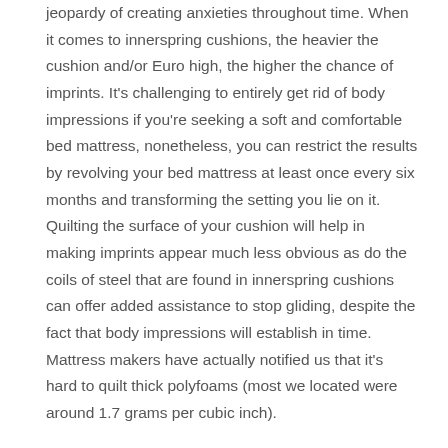jeopardy of creating anxieties throughout time. When it comes to innerspring cushions, the heavier the cushion and/or Euro high, the higher the chance of imprints. It's challenging to entirely get rid of body impressions if you're seeking a soft and comfortable bed mattress, nonetheless, you can restrict the results by revolving your bed mattress at least once every six months and transforming the setting you lie on it. Quilting the surface of your cushion will help in making imprints appear much less obvious as do the coils of steel that are found in innerspring cushions can offer added assistance to stop gliding, despite the fact that body impressions will establish in time. Mattress makers have actually notified us that it's hard to quilt thick polyfoams (most we located were around 1.7 grams per cubic inch).
As compared to memory foam latex-only cushions (such as our leading latex option or Zenhaven) Zenhaven), in addition to innerspring with a layer of Latex (like those in the Charles P. Rogers Estate SE amongst our top innerspring choices), are more